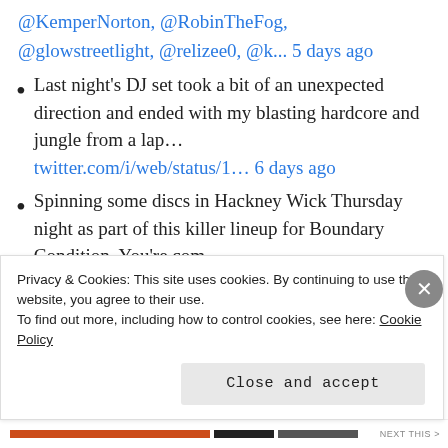@KemperNorton, @RobinTheFog, @glowstreetlight, @relizee0, @k... 5 days ago
Last night's DJ set took a bit of an unexpected direction and ended with my blasting hardcore and jungle from a lap... twitter.com/i/web/status/1... 6 days ago
Spinning some discs in Hackney Wick Thursday night as part of this killer lineup for Boundary Condition. You're com... twitter.com/i/web/status/1... 1 week ago
Privacy & Cookies: This site uses cookies. By continuing to use this website, you agree to their use.
To find out more, including how to control cookies, see here: Cookie Policy
Close and accept